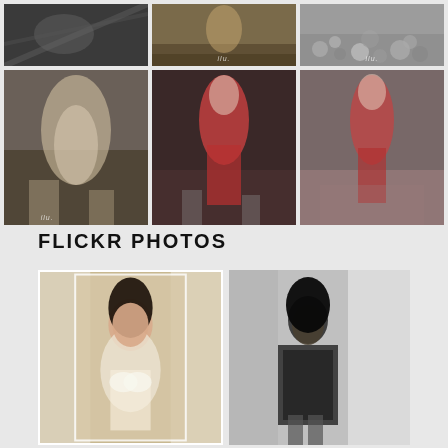[Figure (photo): Grid of 6 fashion photos: top row shows black-and-white close-up, rocky landscape with person, and pebble beach; bottom row shows woman in floral dress on rocks, model in red lingerie on runway, model in red cutout dress on runway]
FLICKR PHOTOS
[Figure (photo): Two Flickr photos side by side: left shows Asian woman with dark bob hair in white lingerie outdoors, right shows black-and-white photo of woman in dark jacket and fishnet stockings seated by window]